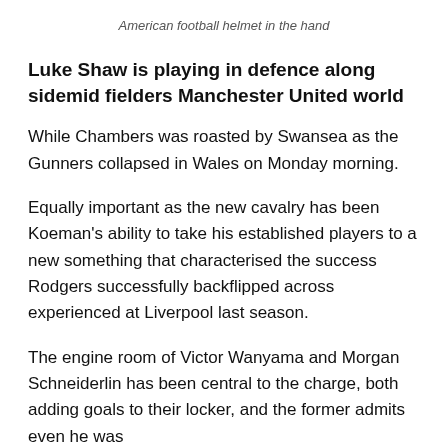American football helmet in the hand
Luke Shaw is playing in defence along sidemid fielders Manchester United world
While Chambers was roasted by Swansea as the Gunners collapsed in Wales on Monday morning.
Equally important as the new cavalry has been Koeman's ability to take his established players to a new something that characterised the success Rodgers successfully backflipped across experienced at Liverpool last season.
The engine room of Victor Wanyama and Morgan Schneiderlin has been central to the charge, both adding goals to their locker, and the former admits even he was